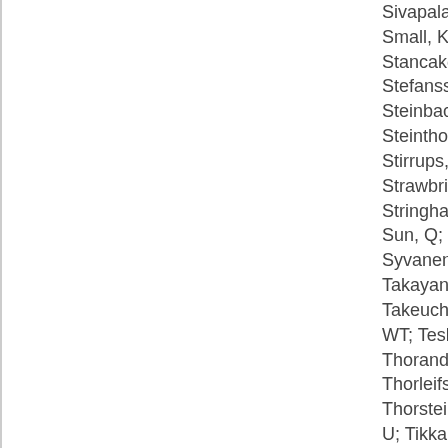Sivapalaratnam; Small, KS; So, W; Stancakova, A; Stefansson, K; Steinbach, G; Steinthorsdottir; Stirrups, K; Strawbridge, RJ; Stringham, HM; Sun, Q; Suo, C; Syvanen, AC; Takayanagi, R; Takeuchi, F; Tay; WT; Teslovich, T; Thorand, B; Thorleifsson, G; Thorsteinsdottir; U; Tikkanen, E; Trakalo, J; Trem; E; Trip, MD; Tsai,